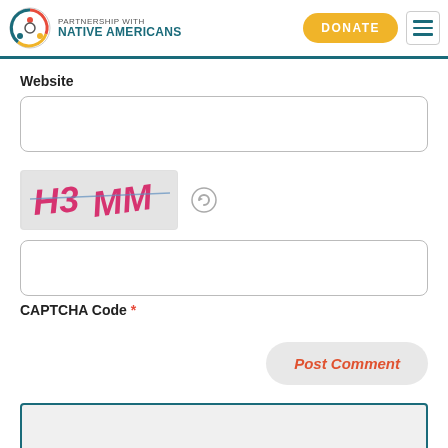[Figure (logo): Partnership with Native Americans logo with colorful circular icon and teal text]
Website
[Figure (screenshot): Text input field for Website URL]
[Figure (illustration): CAPTCHA image showing handwritten text H3MM with a refresh icon]
[Figure (screenshot): Text input field for CAPTCHA code]
CAPTCHA Code *
[Figure (screenshot): Post Comment button in light gray with orange-red italic text]
HOT TOPICS